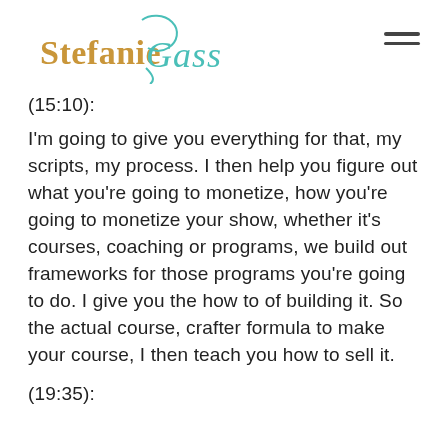Stefanie Gass [logo]
(15:10):
I'm going to give you everything for that, my scripts, my process. I then help you figure out what you're going to monetize, how you're going to monetize your show, whether it's courses, coaching or programs, we build out frameworks for those programs you're going to do. I give you the how to of building it. So the actual course, crafter formula to make your course, I then teach you how to sell it.
(19:35):